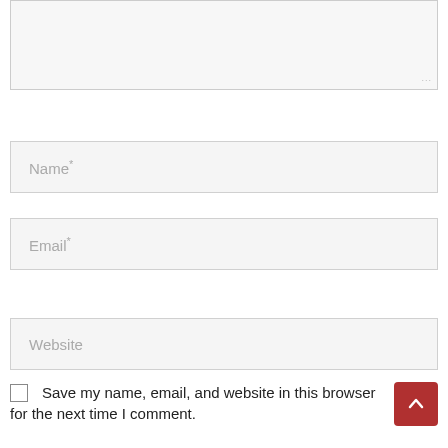[Figure (screenshot): Textarea input field with resize handle at bottom right, light gray background and border]
Name*
Email*
Website
Save my name, email, and website in this browser for the next time I comment.